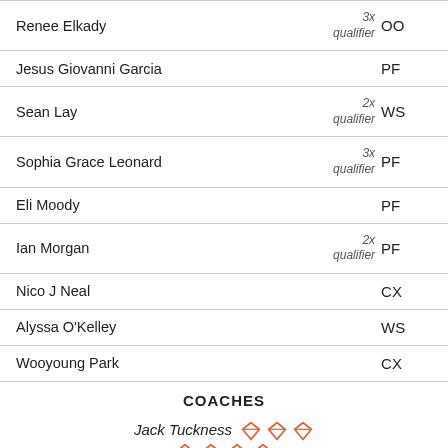| Name | Qualifier | Code |
| --- | --- | --- |
| Renee Elkady | 3x qualifier | OO |
| Jesus Giovanni Garcia |  | PF |
| Sean Lay | 2x qualifier | WS |
| Sophia Grace Leonard | 3x qualifier | PF |
| Eli Moody |  | PF |
| Ian Morgan | 2x qualifier | PF |
| Nico J Neal |  | CX |
| Alyssa O'Kelley |  | WS |
| Wooyoung Park |  | CX |
COACHES
Jack Tuckness — 7 diamond icons